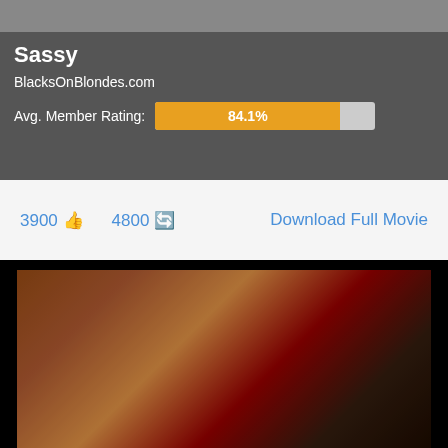[Figure (photo): Top partial image bar]
Sassy
BlacksOnBlondes.com
Avg. Member Rating: 84.1%
3900 👍  4800 🔄  Download Full Movie
[Figure (photo): Video scene thumbnail showing adult content]